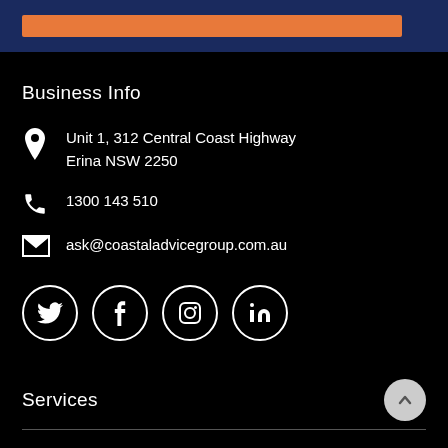[Figure (other): Orange rectangle bar inside dark blue header band]
Business Info
Unit 1, 312 Central Coast Highway
Erina NSW 2250
1300 143 510
ask@coastaladvicegroup.com.au
[Figure (other): Social media icons: Twitter, Facebook, Instagram, LinkedIn — each in a white circle outline]
Services